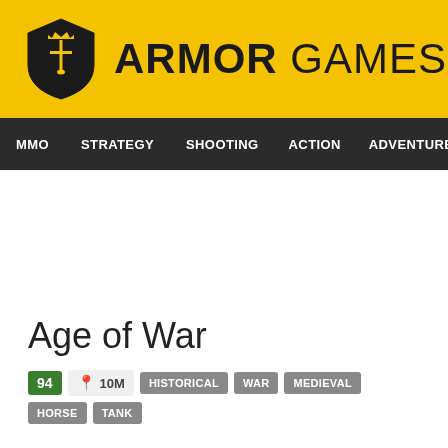ARMOR GAMES
MMO  STRATEGY  SHOOTING  ACTION  ADVENTURE  P
Age of War
94  🖈 10M  HISTORICAL  WAR  MEDIEVAL  HORSE  TANK